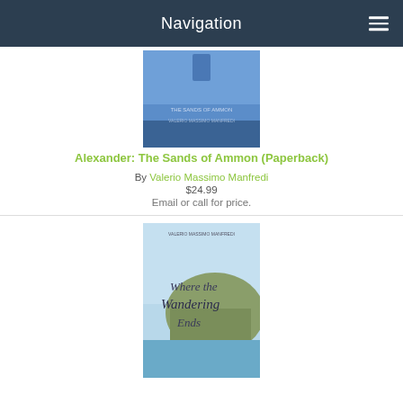Navigation
[Figure (illustration): Book cover for Alexander: The Sands of Ammon (Paperback) with blue background]
Alexander: The Sands of Ammon (Paperback)
By Valerio Massimo Manfredi
$24.99
Email or call for price.
[Figure (illustration): Book cover for Where the Wandering Ends with scenic coastal imagery]